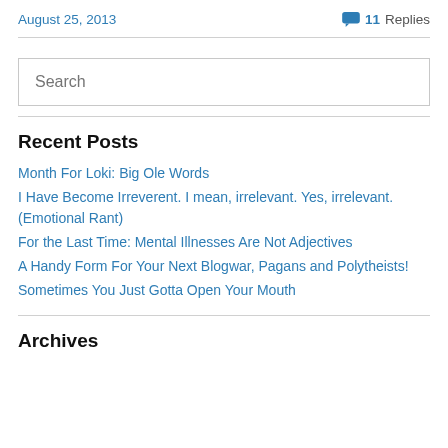August 25, 2013   💬 11 Replies
Search
Recent Posts
Month For Loki: Big Ole Words
I Have Become Irreverent. I mean, irrelevant. Yes, irrelevant. (Emotional Rant)
For the Last Time: Mental Illnesses Are Not Adjectives
A Handy Form For Your Next Blogwar, Pagans and Polytheists!
Sometimes You Just Gotta Open Your Mouth
Archives